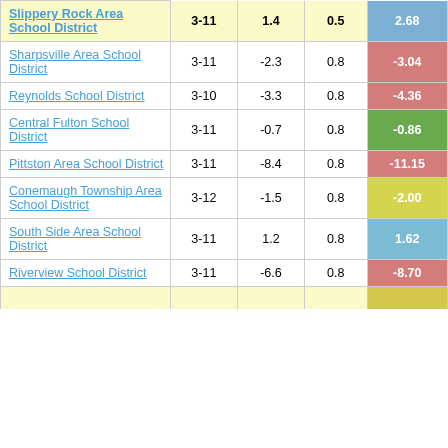| District | Grades | Col3 | Col4 | Score |
| --- | --- | --- | --- | --- |
| Slippery Rock Area School District | 3-11 | 1.4 | 0.5 | 2.68 |
| Sharpsville Area School District | 3-11 | -2.3 | 0.8 | -3.04 |
| Reynolds School District | 3-10 | -3.3 | 0.8 | -4.36 |
| Central Fulton School District | 3-11 | -0.7 | 0.8 | -0.86 |
| Pittston Area School District | 3-11 | -8.4 | 0.8 | -11.15 |
| Conemaugh Township Area School District | 3-12 | -1.5 | 0.8 | -2.00 |
| South Side Area School District | 3-11 | 1.2 | 0.8 | 1.62 |
| Riverview School District | 3-11 | -6.6 | 0.8 | -8.70 |